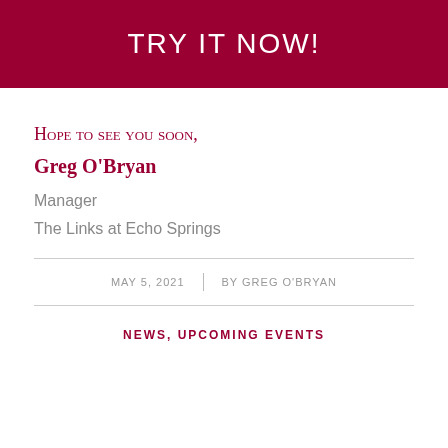TRY IT NOW!
Hope to see you soon,
Greg O'Bryan
Manager
The Links at Echo Springs
MAY 5, 2021  |  BY GREG O'BRYAN
NEWS, UPCOMING EVENTS